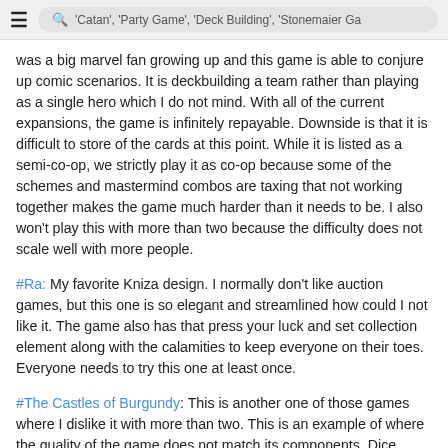'Catan', 'Party Game', 'Deck Building', 'Stonemaier Ga'
was a big marvel fan growing up and this game is able to conjure up comic scenarios. It is deckbuilding a team rather than playing as a single hero which I do not mind. With all of the current expansions, the game is infinitely repayable. Downside is that it is difficult to store of the cards at this point. While it is listed as a semi-co-op, we strictly play it as co-op because some of the schemes and mastermind combos are taxing that not working together makes the game much harder than it needs to be. I also won't play this with more than two because the difficulty does not scale well with more people.
#Ra: My favorite Kniza design. I normally don't like auction games, but this one is so elegant and streamlined how could I not like it. The game also has that press your luck and set collection element along with the calamities to keep everyone on their toes. Everyone needs to try this one at least once.
#The Castles of Burgundy: This is another one of those games where I dislike it with more than two. This is an example of where the quality of the game does not match its components. Dice